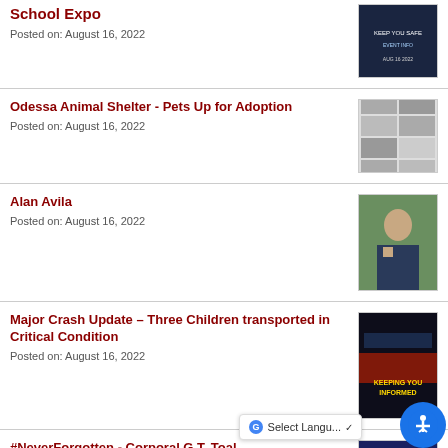School Expo
Posted on: August 16, 2022
[Figure (photo): Dark blue promotional image for School Expo event]
Odessa Animal Shelter - Pets Up for Adoption
Posted on: August 16, 2022
[Figure (photo): Grid of animal photos for adoption listing]
Alan Avila
Posted on: August 16, 2022
[Figure (photo): Photo of Alan Avila in uniform outdoors]
Major Crash Update – Three Children transported in Critical Condition
Posted on: August 16, 2022
[Figure (photo): Dark image with KEEPING YOU INFORMED text overlay for crash update]
#NeverForgotten - Corporal G.T. Toal
Posted on: August 16, 2022
[Figure (photo): Blue commemorative image for Corporal G.T. Toal]